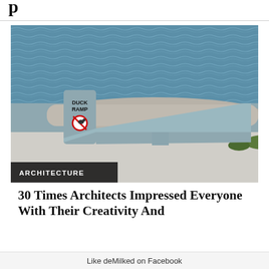p
[Figure (photo): A gray duck ramp structure next to a concrete waterway edge. The ramp is a flat inclined surface with a small vertical panel labeled 'DUCK RAMP' with a no-symbol icon beneath. Water ripples visible in the background. Category badge reads 'ARCHITECTURE'.]
30 Times Architects Impressed Everyone With Their Creativity And Th…
Like deMilked on Facebook